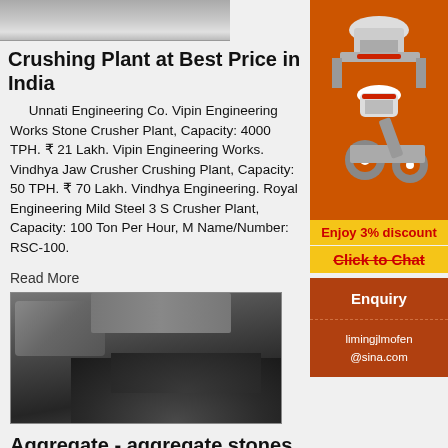[Figure (photo): Top portion of a stone crusher machine or industrial equipment, partially visible]
Crushing Plant at Best Price in India
Unnati Engineering Co. Vipin Engineering Works Stone Crusher Plant, Capacity: 4000 TPH. ₹ 21 Lakh. Vipin Engineering Works. Vindhya Jaw Crusher Crushing Plant, Capacity: 50 TPH. ₹ 70 Lakh. Vindhya Engineering. Royal Engineering Mild Steel 3 S Crusher Plant, Capacity: 100 Ton Per Hour, M Name/Number: RSC-100.
Read More
[Figure (photo): Mobile crushing plant with aggregate stone pile in an outdoor quarry setting]
Aggregate - aggregate stones Manufacturers, Suppliers ...
Price : Get Quote Packaging Type : 200-1000kg
[Figure (illustration): Advertisement showing crushing/milling machinery on orange background with 'Enjoy 3% discount' and 'Click to Chat' text, plus Enquiry button and email limingjlmofen@sina.com]